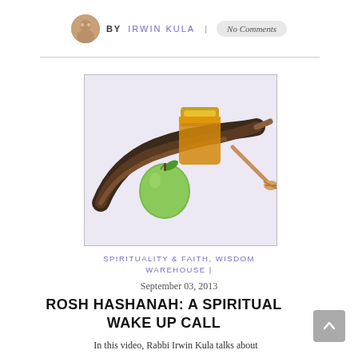BY IRWIN KULA | No Comments
[Figure (photo): Rosh Hashanah items: a shofar (ram's horn), a green apple, a jar of honey with a golden lid, and a honey dipper, arranged on a light purple/white background.]
SPIRITUALITY & FAITH, WISDOM WAREHOUSE |
September 03, 2013
ROSH HASHANAH: A SPIRITUAL WAKE UP CALL
In this video, Rabbi Irwin Kula talks about